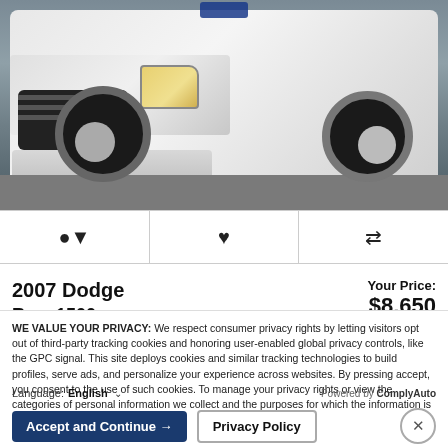[Figure (photo): Front view of a white 2007 Dodge Ram 1500 pickup truck parked in a lot, showing the grille, headlights, front bumper, and chrome wheels.]
🔔  ♥  ⇄
2007 Dodge Ram 1500
Your Price: $8,650
WE VALUE YOUR PRIVACY: We respect consumer privacy rights by letting visitors opt out of third-party tracking cookies and honoring user-enabled global privacy controls, like the GPC signal. This site deploys cookies and similar tracking technologies to build profiles, serve ads, and personalize your experience across websites. By pressing accept, you consent to the use of such cookies. To manage your privacy rights or view the categories of personal information we collect and the purposes for which the information is used, click here.
Language: English ∨    Powered by ComplyAuto
Accept and Continue →   Privacy Policy   ×